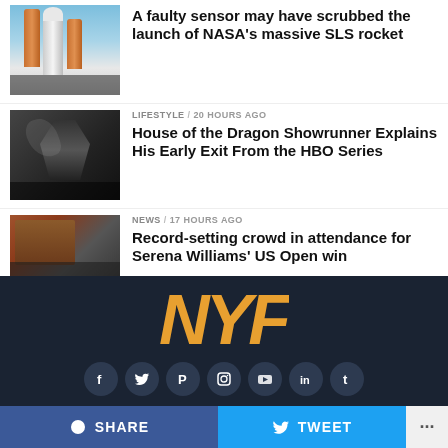[Figure (photo): NASA SLS rocket on launch pad]
A faulty sensor may have scrubbed the launch of NASA's massive SLS rocket
[Figure (photo): Dragon creature silhouette image for House of the Dragon article]
LIFESTYLE / 20 hours ago
House of the Dragon Showrunner Explains His Early Exit From the HBO Series
[Figure (photo): Crowd attending Serena Williams US Open match]
NEWS / 17 hours ago
Record-setting crowd in attendance for Serena Williams' US Open win
[Figure (logo): NYF logo in orange/gold italic letters on dark background]
SHARE   TWEET   ...